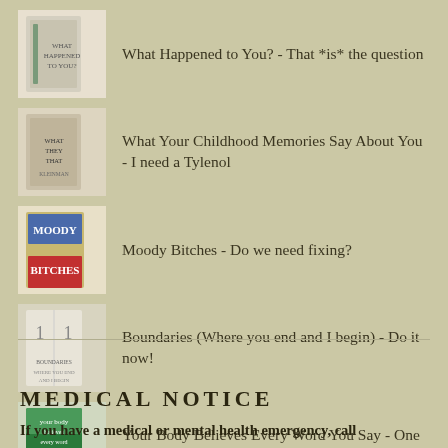What Happened to You? - That *is* the question
What Your Childhood Memories Say About You - I need a Tylenol
Moody Bitches - Do we need fixing?
Boundaries (Where you end and I begin) - Do it now!
Your Body Believes Every Word You Say - One of the truest titles, ever!
MEDICAL NOTICE
If you have a medical or mental health emergency, call